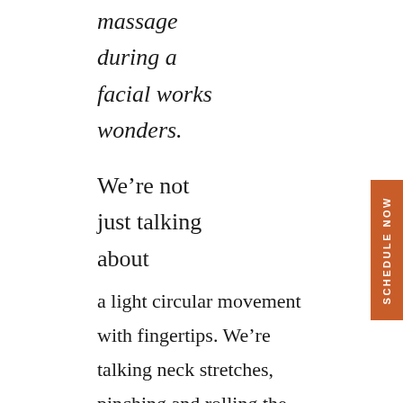massage
during a
facial works
wonders.
We’re not
just talking
about
a light circular movement with fingertips. We’re talking neck stretches, pinching and rolling the facial muscles, sliding the hands into the upper back to release tension, using the hilt of the hand to pressure-release the forehead lines, and pressure point work at the base of the neck to fully relax the entire body and allow premium
[Figure (other): Orange vertical side tab with text 'SCHEDULE NOW' written vertically]